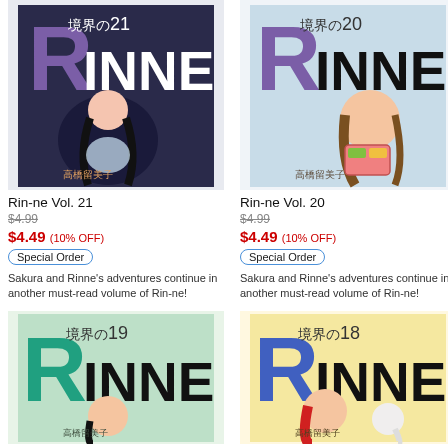[Figure (illustration): Manga book cover for Rin-ne Vol. 21]
Rin-ne Vol. 21
$4.99
$4.49 (10% OFF)
Special Order
Sakura and Rinne's adventures continue in another must-read volume of Rin-ne!
[Figure (illustration): Manga book cover for Rin-ne Vol. 20]
Rin-ne Vol. 20
$4.99
$4.49 (10% OFF)
Special Order
Sakura and Rinne's adventures continue in another must-read volume of Rin-ne!
[Figure (illustration): Manga book cover for Rin-ne Vol. 19]
[Figure (illustration): Manga book cover for Rin-ne Vol. 18]